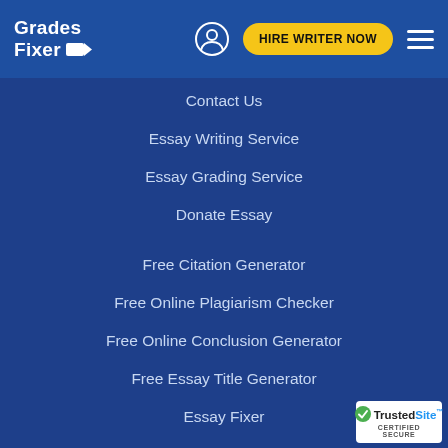Grades Fixer | HIRE WRITER NOW
Contact Us
Essay Writing Service
Essay Grading Service
Donate Essay
Free Citation Generator
Free Online Plagiarism Checker
Free Online Conclusion Generator
Free Essay Title Generator
Essay Fixer
Blog
[Figure (logo): TrustedSite Certified Secure badge]